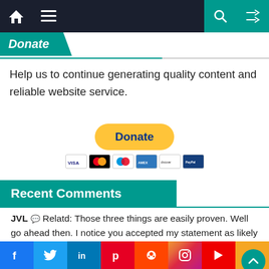Donate
Help us to continue generating quality content and reliable website service.
[Figure (other): PayPal Donate button with payment card logos (VISA, Mastercard, Maestro, Amex, Discover, PayPal)]
Recent Comments
JVL 💬 Relatd: Those three things are easily proven. Well go ahead then. I notice you accepted my statement as likely true... – At Evolution News: Mammoth Support for...
Alan Fox 💬 I work with professional writers. Yes, you...